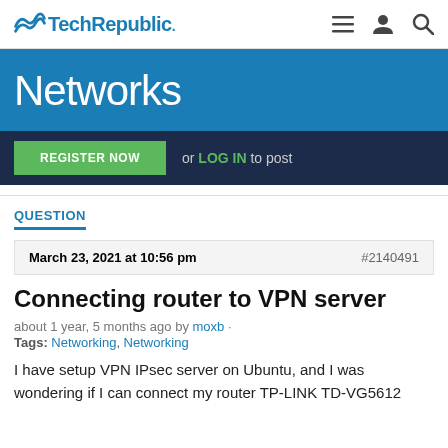TechRepublic
Networks
REGISTER NOW or LOG IN to post
QUESTION
March 23, 2021 at 10:56 pm  #2140491
Connecting router to VPN server
about 1 year, 5 months ago by moxb · Tags: Networking, Networking
I have setup VPN IPsec server on Ubuntu, and I was wondering if I can connect my router TP-LINK TD-VG5612